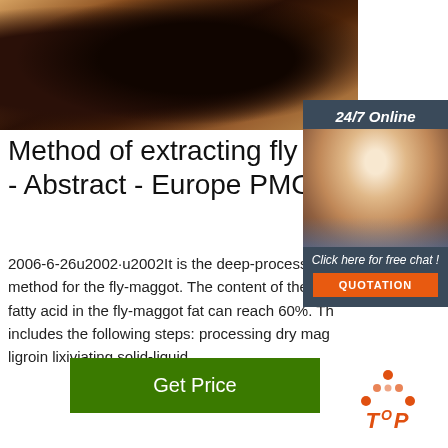[Figure (photo): Close-up photo of dried fly maggot material, dark brown color, top portion of page]
[Figure (photo): Chat widget with 24/7 Online label, woman with headset, Click here for free chat and QUOTATION button]
Method of extracting fly maggot - Abstract - Europe PMC
2006-6-26u2002·u2002It is the deep-processing method for the fly-maggot. The content of the un fatty acid in the fly-maggot fat can reach 60%. Th includes the following steps: processing dry mag ligroin lixiviating solid-liquid …
[Figure (other): Green Get Price button]
[Figure (logo): TOP logo with orange dots arranged in triangle and orange italic TOP text]